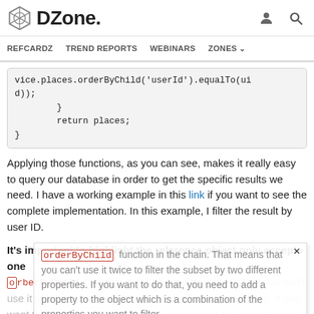DZone. REFCARDZ  TREND REPORTS  WEBINARS  ZONES
vice.places.orderByChild('userId').equalTo(uid));
        }
        return places;
}
Applying those functions, as you can see, makes it really easy to query our database in order to get the specific results we need. I have a working example in this link if you want to see the complete implementation. In this example, I filter the result by user ID.
It's important to highlight the reference object only accepts one orderByChild function in the chain. That means that you can't use it twice to filter the subset by two different properties. If you want to do that, you need to add a property to the object which is a combination of the properties you want to filter.
For a complete reference of Angular Fire, use this link. For a complete